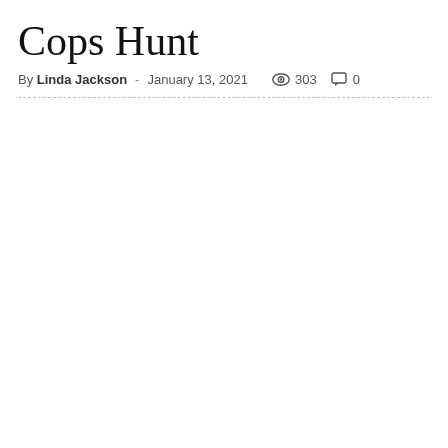Cops Hunt
By Linda Jackson · January 13, 2021   303   0